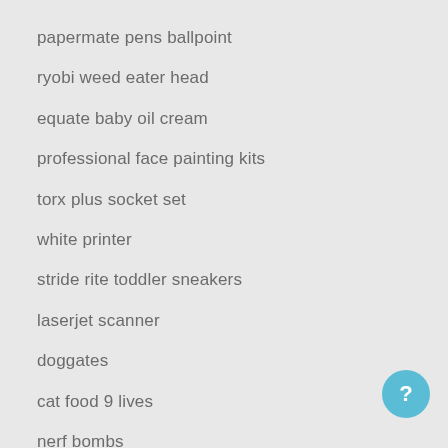papermate pens ballpoint
ryobi weed eater head
equate baby oil cream
professional face painting kits
torx plus socket set
white printer
stride rite toddler sneakers
laserjet scanner
doggates
cat food 9 lives
nerf bombs